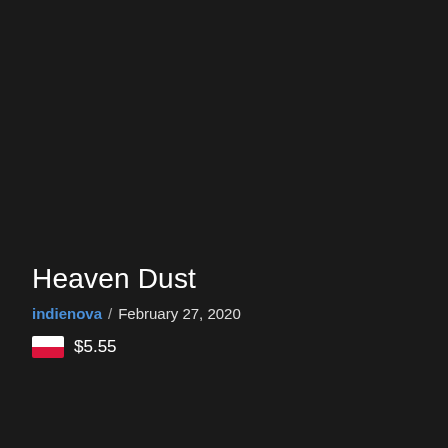Heaven Dust
indienova / February 27, 2020
$5.55